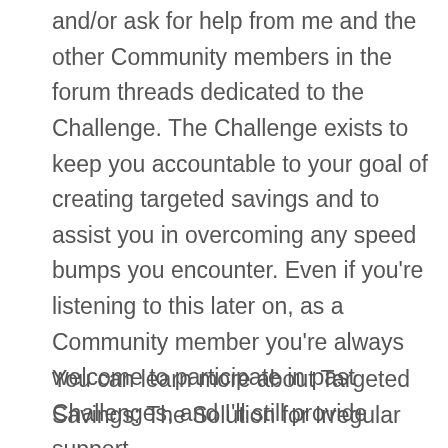and/or ask for help from me and the other Community members in the forum threads dedicated to the Challenge. The Challenge exists to keep you accountable to your goal of creating targeted savings and to assist you in overcoming any speed bumps you encounter. Even if you're listening to this later on, as a Community member you're always welcome to participate in past Challenges, and I'll still provide support.
You can learn more about Targeted Savings: The Solution for Irregular